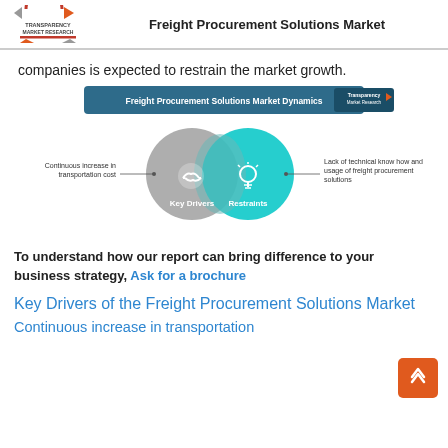Freight Procurement Solutions Market
companies is expected to restrain the market growth.
[Figure (infographic): Venn diagram showing Freight Procurement Solutions Market Dynamics with two overlapping circles: 'Key Drivers' (gray circle, left) with handshake icon and 'Restraints' (teal circle, right) with lightbulb icon. Left annotation: 'Continuous increase in transportation cost'. Right annotation: 'Lack of technical know how and usage of freight procurement solutions'. Transparency Market Research logo top right.]
To understand how our report can bring difference to your business strategy, Ask for a brochure
Key Drivers of the Freight Procurement Solutions Market
Continuous increase in transportation